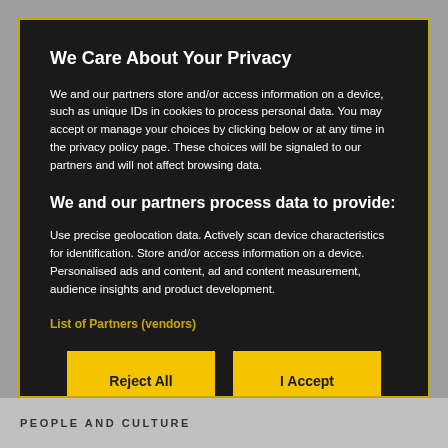We Care About Your Privacy
We and our partners store and/or access information on a device, such as unique IDs in cookies to process personal data. You may accept or manage your choices by clicking below or at any time in the privacy policy page. These choices will be signaled to our partners and will not affect browsing data.
We and our partners process data to provide:
Use precise geolocation data. Actively scan device characteristics for identification. Store and/or access information on a device. Personalised ads and content, ad and content measurement, audience insights and product development.
List of Partners (vendors)
Reject All
I Accept
Show Purposes
PEOPLE AND CULTURE